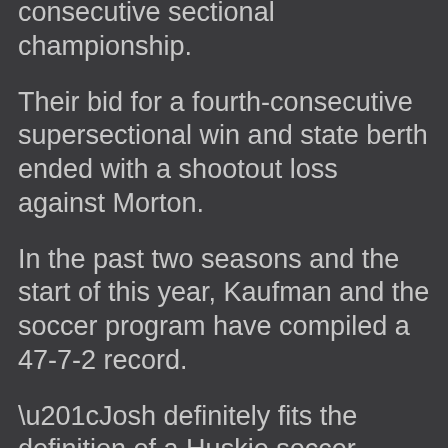consecutive sectional championship.
Their bid for a fourth-consecutive supersectional win and state berth ended with a shootout loss against Morton.
In the past two seasons and the start of this year, Kaufman and the soccer program have compiled a 47-7-2 record.
“Josh definitely fits the definition of a Huskie soccer player,” North coach Jim Konrad said.
“He is tenacious, plays with class, is always willing to battle, and puts the